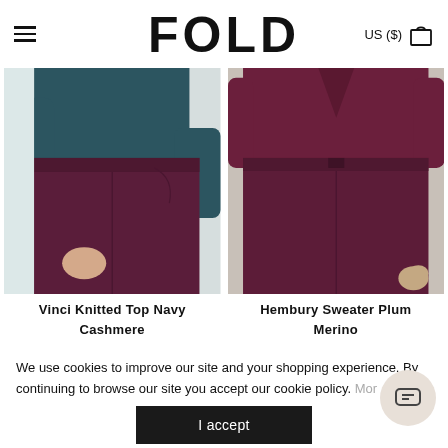FOLD  US ($)
[Figure (photo): Model wearing dark teal knitted top with burgundy/plum wide-leg trousers, cropped at waist/hip area]
[Figure (photo): Model wearing plum/burgundy merino sweater with matching plum wide-leg trousers, cropped at waist/hip area]
Vinci Knitted Top Navy Cashmere
Hembury Sweater Plum Merino
We use cookies to improve our site and your shopping experience. By continuing to browse our site you accept our cookie policy.  More
I accept